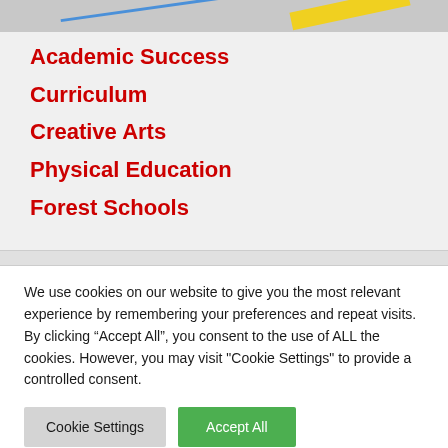[Figure (map): Partial map view showing roads with a blue diagonal line and a yellow road stripe on a grey background]
Academic Success
Curriculum
Creative Arts
Physical Education
Forest Schools
We use cookies on our website to give you the most relevant experience by remembering your preferences and repeat visits. By clicking “Accept All”, you consent to the use of ALL the cookies. However, you may visit "Cookie Settings" to provide a controlled consent.